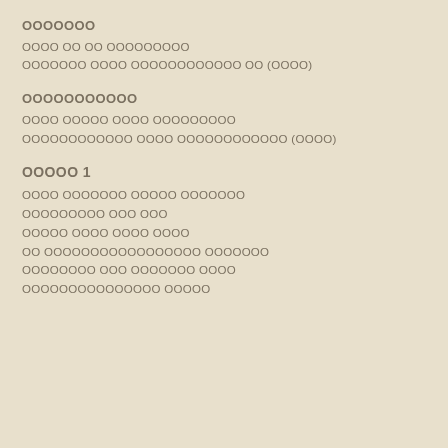ООООООО
ОООО ОО ОО ООООООООО
ООООООО ОООО ОООООООООООО ОО (ОООО)
ООООООООООО
ОООО ООООО ОООО ООООООООО
ОООООООООООО ОООО ОООООООООООО (ОООО)
ООООО 1
ОООО ООООООО ООООО ООООООО
ООООООООО ООО ООО
ООООО ОООО ОООО ОООО
ОО ООООООООООООООООО ООООООО
ОООООООО ООО ООООООО ОООО
ООООООООООООООО ООООО